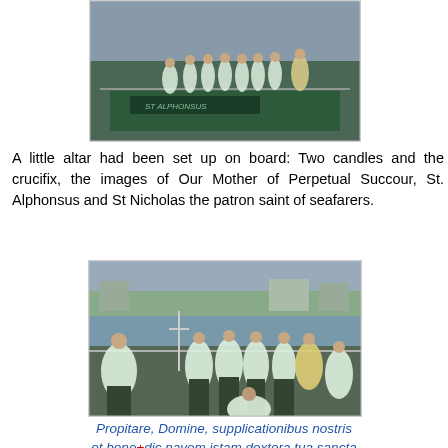[Figure (photo): Group of clergy and altar servers in white surplices and black cassocks standing on the deck of a boat named 'St Alphonsus', with a harbour/dock background]
A little altar had been set up on board: Two candles and the crucifix, the images of Our Mother of Perpetual Succour, St. Alphonsus and St Nicholas the patron saint of seafarers.
[Figure (photo): Group of clergy and altar servers in white surplices and black cassocks gathered on a boat deck, with a calm harbour and buildings visible in the background]
Propitare, Domine, supplicationibus nostris et bene+dic navem istam dextera tua sancta